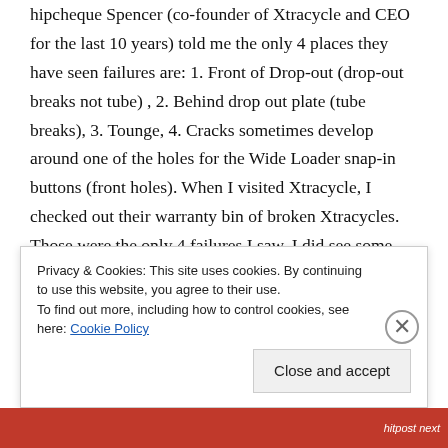hipcheque Spencer (co-founder of Xtracycle and CEO for the last 10 years) told me the only 4 places they have seen failures are: 1. Front of Drop-out (drop-out breaks not tube) , 2. Behind drop out plate (tube breaks), 3. Tounge, 4. Cracks sometimes develop around one of the holes for the Wide Loader snap-in buttons (front holes). When I visited Xtracycle, I checked out their warranty bin of broken Xtracycles. Those were the only 4 failures I saw. I did see some bent ones! The long extension tubes can bend
Privacy & Cookies: This site uses cookies. By continuing to use this website, you agree to their use.
To find out more, including how to control cookies, see here: Cookie Policy